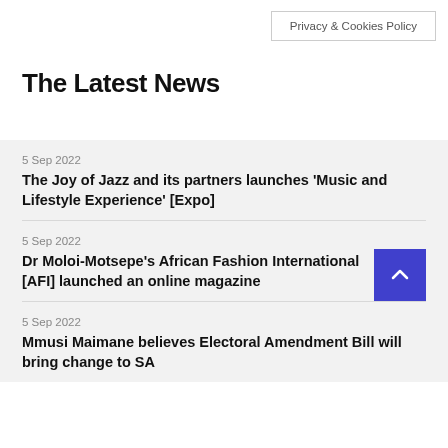Privacy & Cookies Policy
The Latest News
5 Sep 2022
The Joy of Jazz and its partners launches 'Music and Lifestyle Experience' [Expo]
5 Sep 2022
Dr Moloi-Motsepe's African Fashion International [AFI] launched an online magazine
5 Sep 2022
Mmusi Maimane believes Electoral Amendment Bill will bring change to SA